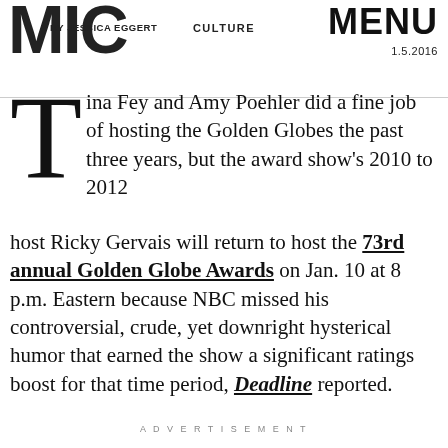MIC BY JESSICA EGGERT   CULTURE   MENU 1.5.2016
Tina Fey and Amy Poehler did a fine job of hosting the Golden Globes the past three years, but the award show's 2010 to 2012 host Ricky Gervais will return to host the 73rd annual Golden Globe Awards on Jan. 10 at 8 p.m. Eastern because NBC missed his controversial, crude, yet downright hysterical humor that earned the show a significant ratings boost for that time period, Deadline reported.
ADVERTISEMENT